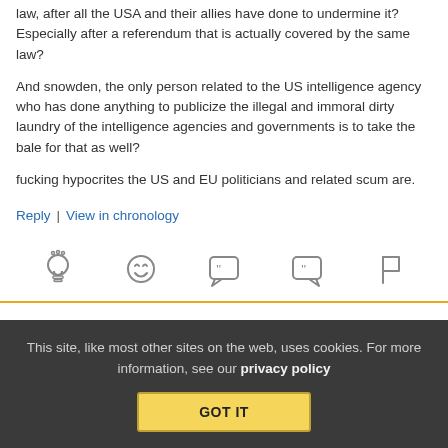law, after all the USA and their allies have done to undermine it? Especially after a referendum that is actually covered by the same law?
And snowden, the only person related to the US intelligence agency who has done anything to publicize the illegal and immoral dirty laundry of the intelligence agencies and governments is to take the bale for that as well?
fucking hypocrites the US and EU politicians and related scum are.
Reply | View in chronology
[Figure (infographic): Row of five icon buttons: lightbulb (insightful), laughing emoji (funny), opening quote bubble (follow), closing quote bubble (reply quote), flag icon (report)]
This site, like most other sites on the web, uses cookies. For more information, see our privacy policy GOT IT